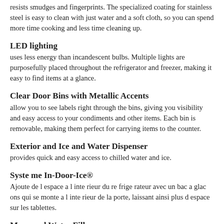resists smudges and fingerprints. The specialized coating for stainless steel is easy to clean with just water and a soft cloth, so you can spend more time cooking and less time cleaning up.
LED lighting
uses less energy than incandescent bulbs. Multiple lights are purposefully placed throughout the refrigerator and freezer, making it easy to find items at a glance.
Clear Door Bins with Metallic Accents
allow you to see labels right through the bins, giving you visibility and easy access to your condiments and other items. Each bin is removable, making them perfect for carrying items to the counter.
Exterior and Ice and Water Dispenser
provides quick and easy access to chilled water and ice.
Syste me In-Door-Ice®
Ajoute de l espace a l inte rieur du re frige rateur avec un bac a glac ons qui se monte a l inte rieur de la porte, laissant ainsi plus d espace sur les tablettes.
Measured Water Fill